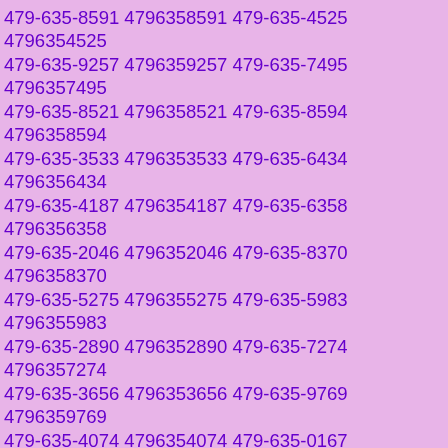479-635-8591 4796358591 479-635-4525 4796354525 479-635-9257 4796359257 479-635-7495 4796357495 479-635-8521 4796358521 479-635-8594 4796358594 479-635-3533 4796353533 479-635-6434 4796356434 479-635-4187 4796354187 479-635-6358 4796356358 479-635-2046 4796352046 479-635-8370 4796358370 479-635-5275 4796355275 479-635-5983 4796355983 479-635-2890 4796352890 479-635-7274 4796357274 479-635-3656 4796353656 479-635-9769 4796359769 479-635-4074 4796354074 479-635-0167 4796350167 479-635-0954 4796350954 479-635-4727 4796354727 479-635-3035 4796353035 479-635-8439 4796358439 479-635-9099 4796359099 479-635-0328 4796350328 479-635-9807 4796359807 479-635-8176 4796358176 479-635-2874 4796352874 479-635-6255 4796356255 479-635-0215 4796350215 479-635-2638 4796352638 479-635-0807 4796350807 479-635-5639 4796355639 479-635-3192 4796353192 479-635-8014 4796358014 479-635-2850 4796352850 479-635-6557 4796356557 479-635-8661 4796358661 479-635-9097 4796359097